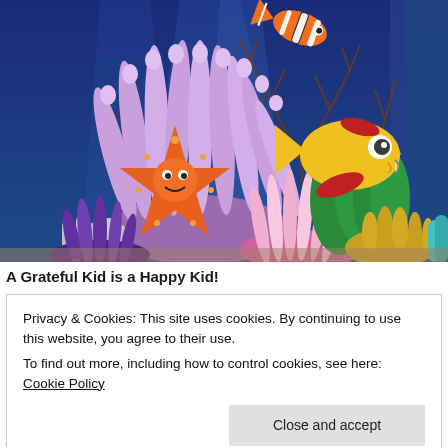[Figure (illustration): Colorful cartoon underwater ocean scene with a smiling orange starfish, a yellow fish with red fins, a clownfish, purple sea anemones, green seaweed, pink and yellow coral, and dark blue water background with light rays.]
A Grateful Kid is a Happy Kid!
Privacy & Cookies: This site uses cookies. By continuing to use this website, you agree to their use.
To find out more, including how to control cookies, see here: Cookie Policy
Close and accept
joy, draw or write their dreams, and spark their